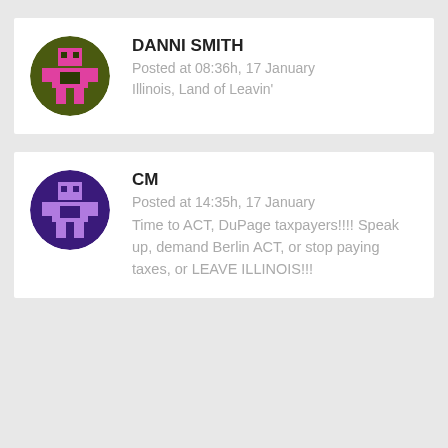[Figure (illustration): Pixel-art avatar: pink robot/character on dark olive green circular background]
DANNI SMITH
Posted at 08:36h, 17 January
Illinois, Land of Leavin'
[Figure (illustration): Pixel-art avatar: purple robot/character on dark purple circular background]
CM
Posted at 14:35h, 17 January
Time to ACT, DuPage taxpayers!!!! Speak up, demand Berlin ACT, or stop paying taxes, or LEAVE ILLINOIS!!!